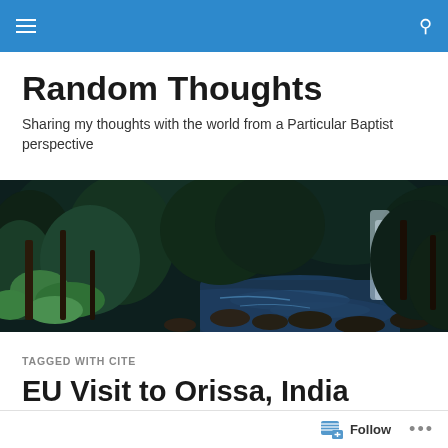Navigation bar with menu and search icons
Random Thoughts
Sharing my thoughts with the world from a Particular Baptist perspective
[Figure (photo): Dark forest scene with a waterfall and stream flowing over rocks, surrounded by lush green foliage and trees]
TAGGED WITH CITE
EU Visit to Orissa, India
Follow ...